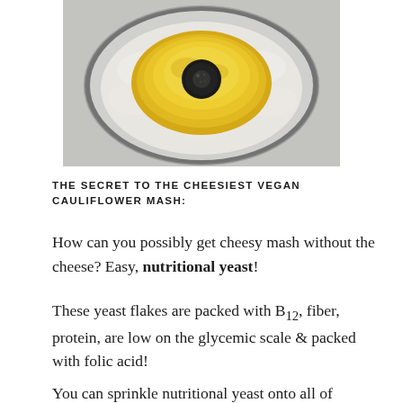[Figure (photo): Top-down view of a food processor bowl containing white cauliflower mash with a mound of yellow nutritional yeast powder in the center, the black blade assembly visible in the middle, on a light gray marble surface.]
THE SECRET TO THE CHEESIEST VEGAN CAULIFLOWER MASH:
How can you possibly get cheesy mash without the cheese? Easy, nutritional yeast!
These yeast flakes are packed with B12, fiber, protein, are low on the glycemic scale & packed with folic acid!
You can sprinkle nutritional yeast onto all of